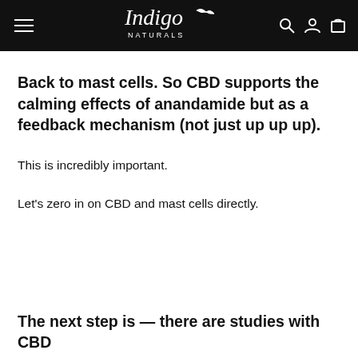Indigo Naturals
Back to mast cells. So CBD supports the calming effects of anandamide but as a feedback mechanism (not just up up up).
This is incredibly important.
Let's zero in on CBD and mast cells directly.
The next step is — there are studies with CBD